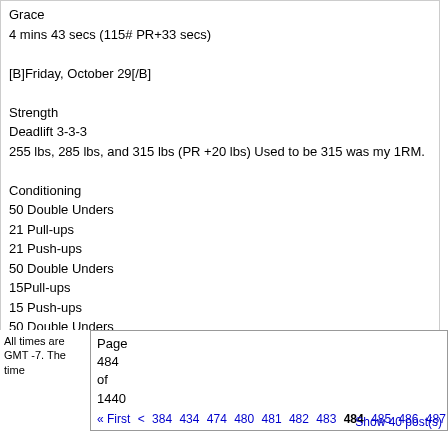Grace
4 mins 43 secs (115# PR+33 secs)
[B]Friday, October 29[/B]
Strength
Deadlift 3-3-3
255 lbs, 285 lbs, and 315 lbs (PR +20 lbs) Used to be 315 was my 1RM.
Conditioning
50 Double Unders
21 Pull-ups
21 Push-ups
50 Double Unders
15Pull-ups
15 Push-ups
50 Double Unders
9 Pull-ups
9 Push-ups
9 mins 46 secs
All times are GMT -7. The time
Page 484 of 1440
« First  <  384  434  474  480  481  482  483  484  485  486  487  488  484